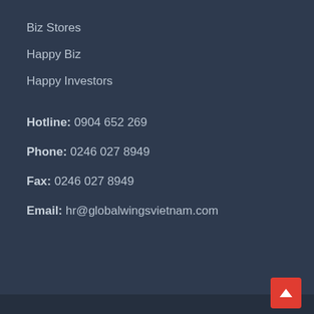Biz Stores
Happy Biz
Happy Investors
Hotline: 0904 652 269
Phone: 0246 027 8949
Fax: 0246 027 8949
Email: hr@globalwingsvietnam.com